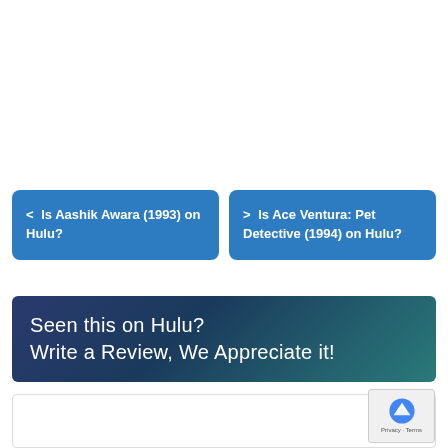< Is Aashik Awara (1993) on Hulu?
> Is Ace Ventura: Pet Detective (1994) on Hulu?
Seen this on Hulu?
Write a Review, We Appreciate it!